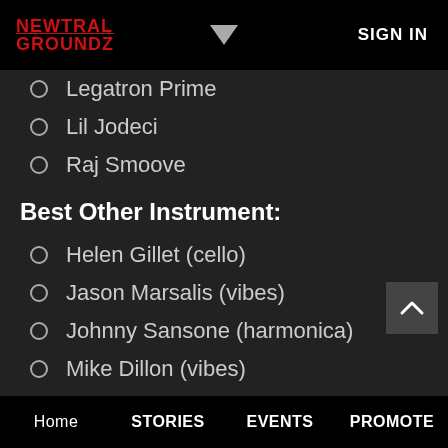NEWTRAL GROUNDZ  ▼  SIGN IN
Legatron Prime
Lil Jodeci
Raj Smoove
Best Other Instrument:
Helen Gillet (cello)
Jason Marsalis (vibes)
Johnny Sansone (harmonica)
Mike Dillon (vibes)
Washboard Chaz (washboard)
Home  STORIES  EVENTS  PROMOTE